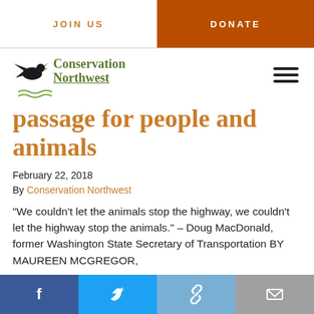JOIN US   DONATE
[Figure (logo): Conservation Northwest logo with eagle silhouette and wave marks]
passage for people and animals
February 22, 2018
By Conservation Northwest
“We couldn’t let the animals stop the highway, we couldn’t let the highway stop the animals.” – Doug MacDonald, former Washington State Secretary of Transportation BY MAUREEN MCGREGOR,
Facebook  Twitter  Link  Email